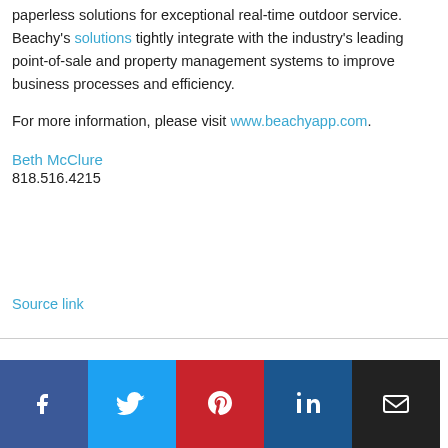paperless solutions for exceptional real-time outdoor service. Beachy's solutions tightly integrate with the industry's leading point-of-sale and property management systems to improve business processes and efficiency.
For more information, please visit www.beachyapp.com.
Beth McClure
818.516.4215
Source link
[Figure (infographic): Social media share buttons: Facebook (blue), Twitter (light blue), Pinterest (red), LinkedIn (dark blue), Email (black)]